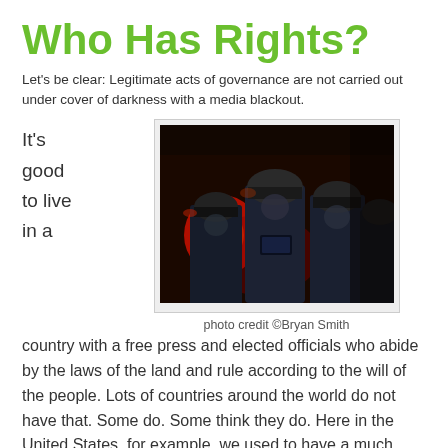Who Has Rights?
Let's be clear: Legitimate acts of governance are not carried out under cover of darkness with a media blackout.
It's good to live in a
[Figure (photo): Police officers in riot gear and helmets, with red emergency lights in the background at night during a protest or civil unrest]
photo credit ©Bryan Smith
country with a free press and elected officials who abide by the laws of the land and rule according to the will of the people. Lots of countries around the world do not have that. Some do. Some think they do. Here in the United States, for example, we used to have a much freer press than we do now. Yesterday's events on the ground in New York City, notably the violent destruction of the Occupy Wall